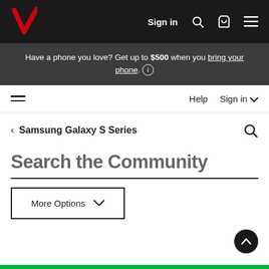Verizon – Sign in
Have a phone you love? Get up to $500 when you bring your phone. ℹ
≡   Help   Sign in ∨
‹ Samsung Galaxy S Series
Search the Community
More Options ∨